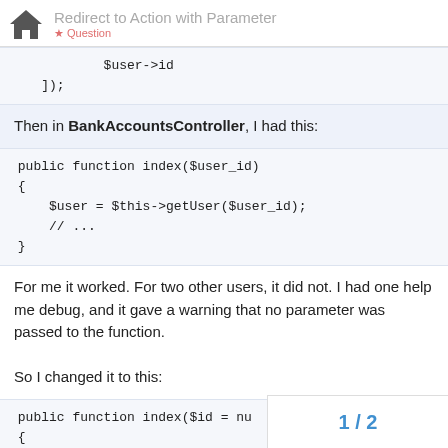Redirect to Action with Parameter
Then in BankAccountsController, I had this:
For me it worked. For two other users, it did not. I had one help me debug, and it gave a warning that no parameter was passed to the function.

So I changed it to this:
1 / 2